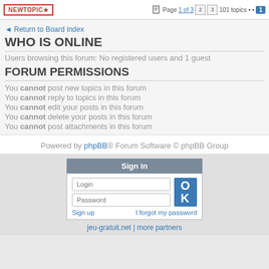NEWTOPIC * | Page 1 of 3 | 2 | 3 | 101 topics •• 1
Return to Board index
WHO IS ONLINE
Users browsing this forum: No registered users and 1 guest
FORUM PERMISSIONS
You cannot post new topics in this forum
You cannot reply to topics in this forum
You cannot edit your posts in this forum
You cannot delete your posts in this forum
You cannot post attachments in this forum
Powered by phpBB® Forum Software © phpBB Group
Sign in
Login | Password | Sign up | I forgot my password
jeu-gratuit.net | more partners